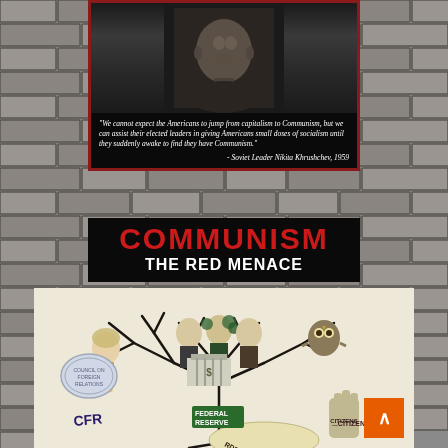[Figure (illustration): Political poster on brick wall background. Top section shows a black-bordered panel with a photograph of Barack Obama in sepia tone, below which is a quote: 'We cannot expect the Americans to jump from capitalism to Communism, but we can assist their elected leaders in giving Americans small doses of socialism until they suddenly awake to find they have Communism.' attributed to Soviet Leader Nikita Khrushchev, 1959. Below that, large red text reads COMMUNISM and white bold text reads THE RED MENACE. Bottom half shows a political conspiracy cartoon illustration on white background depicting caricatures of politicians and bankers in a bare tree, with labels: CFR, Federal Reserve, Bilderberg, Illuminati, Citizens.]